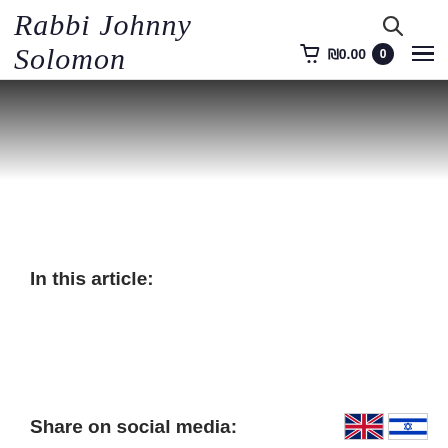Rabbi Johnny Solomon — ₪0.00  0
[Figure (illustration): Dark-to-white gradient hero banner below the navigation header]
In this article:
Share on social media:
[Figure (illustration): UK flag and Israeli flag icons for language selection]